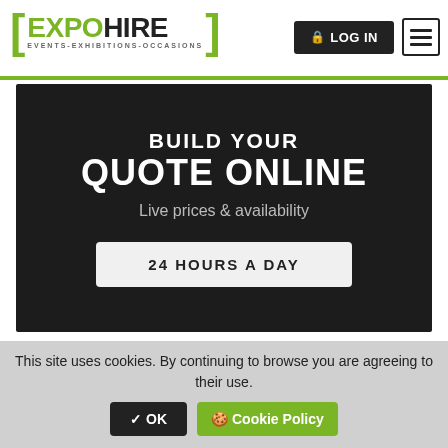[Figure (screenshot): ExpoHire logo with green bracket marks, EXPO in green and HIRE in black, subtitle EVENTS-EXHIBITIONS-OCCASIONS]
[Figure (screenshot): LOG IN button (dark) and hamburger menu icon in the top right header]
BUILD YOUR QUOTE ONLINE
Live prices & availability
24 HOURS A DAY
EXHIBITION ACCESSORIES
[Figure (photo): Two product cards showing chrome/gold ball joint display accessories]
This site uses cookies. By continuing to browse you are agreeing to their use.
✔ OK   🍪 Cookie Policy